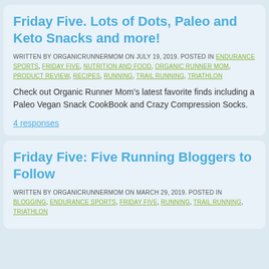Friday Five. Lots of Dots, Paleo and Keto Snacks and more!
WRITTEN BY ORGANICRUNNERMOM ON JULY 19, 2019. POSTED IN ENDURANCE SPORTS, FRIDAY FIVE, NUTRITION AND FOOD, ORGANIC RUNNER MOM, PRODUCT REVIEW, RECIPES, RUNNING, TRAIL RUNNING, TRIATHLON
Check out Organic Runner Mom’s latest favorite finds including a Paleo Vegan Snack CookBook and Crazy Compression Socks.
4 responses
Friday Five: Five Running Bloggers to Follow
WRITTEN BY ORGANICRUNNERMOM ON MARCH 29, 2019. POSTED IN BLOGGING, ENDURANCE SPORTS, FRIDAY FIVE, RUNNING, TRAIL RUNNING, TRIATHLON